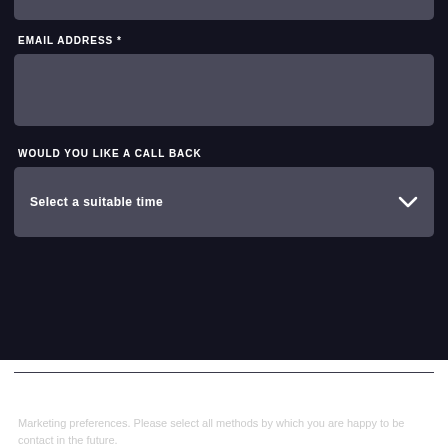GREG MITCHELL MOTORS
EMAIL ADDRESS *
WOULD YOU LIKE A CALL BACK
Select a suitable time
Marketing preferences. Please select all methods by which you are happy to be contact in the future.